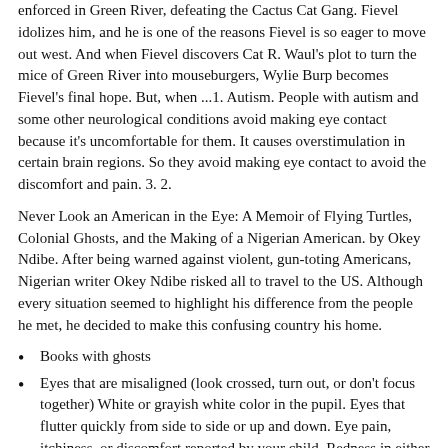enforced in Green River, defeating the Cactus Cat Gang. Fievel idolizes him, and he is one of the reasons Fievel is so eager to move out west. And when Fievel discovers Cat R. Waul's plot to turn the mice of Green River into mouseburgers, Wylie Burp becomes Fievel's final hope. But, when ...1. Autism. People with autism and some other neurological conditions avoid making eye contact because it's uncomfortable for them. It causes overstimulation in certain brain regions. So they avoid making eye contact to avoid the discomfort and pain. 3. 2.
Never Look an American in the Eye: A Memoir of Flying Turtles, Colonial Ghosts, and the Making of a Nigerian American. by Okey Ndibe. After being warned against violent, gun-toting Americans, Nigerian writer Okey Ndibe risked all to travel to the US. Although every situation seemed to highlight his difference from the people he met, he decided to make this confusing country his home.
Books with ghosts
Eyes that are misaligned (look crossed, turn out, or don't focus together) White or grayish white color in the pupil. Eyes that flutter quickly from side to side or up and down. Eye pain, itchiness, or discomfort reported by your child. Redness in either eye that doesn't go away in a few days. Pus or crust in either eye. Eyes that are always watery5. Send your bags packing. Never apply a light concealer to bags under your eyes — it will only accentuate under-eye puffs